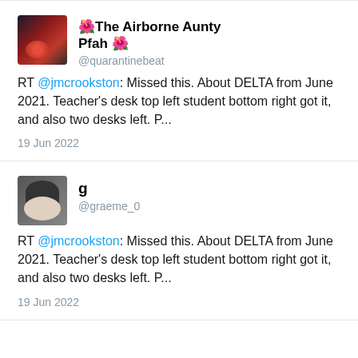🌺The Airborne Aunty Pfah🌺 @quarantinebeat
RT @jmcrookston: Missed this. About DELTA from June 2021. Teacher's desk top left student bottom right got it, and also two desks left. P...
19 Jun 2022
g @graeme_0
RT @jmcrookston: Missed this. About DELTA from June 2021. Teacher's desk top left student bottom right got it, and also two desks left. P...
19 Jun 2022